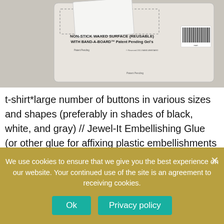[Figure (photo): Photo of a product card/board with text: NON-STICK WAXED SURFACE (REUSABLE) WITH BAND-A-BOARD Patent Pending Gel's, with a barcode on the right and a white card partially lifted. Background is gray.]
t-shirt*large number of buttons in various sizes and shapes (preferably in shades of black, white, and gray)  //  Jewel-It Embellishing Glue (or other glue for affixing plastic embellishments to fabric)  //  piece of cardboard or t-shirt board
Optional:
We use cookies to ensure that we give you the best experience on our website. Your continued use of the site is an agreement to receiving cookies.
Ok
Privacy policy